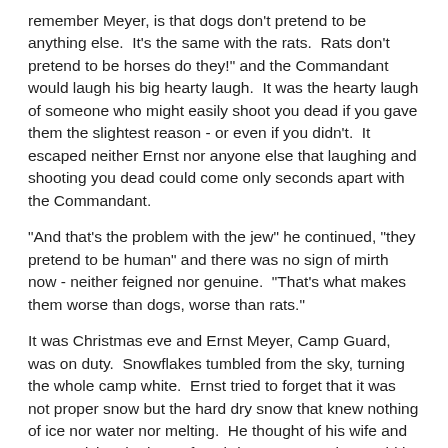remember Meyer, is that dogs don't pretend to be anything else.  It's the same with the rats.  Rats don't pretend to be horses do they!" and the Commandant would laugh his big hearty laugh.  It was the hearty laugh of someone who might easily shoot you dead if you gave them the slightest reason - or even if you didn't.  It escaped neither Ernst nor anyone else that laughing and shooting you dead could come only seconds apart with the Commandant.
"And that's the problem with the jew" he continued, "they pretend to be human" and there was no sign of mirth now - neither feigned nor genuine.  "That's what makes them worse than dogs, worse than rats."
It was Christmas eve and Ernst Meyer, Camp Guard, was on duty.  Snowflakes tumbled from the sky, turning the whole camp white.  Ernst tried to forget that it was not proper snow but the hard dry snow that knew nothing of ice nor water nor melting.  He thought of his wife and son readying the home for Christmas Day - she would be cooking already and he no doubt helping her as only a two year old child could. Feelings of warmth and celebration began to burn in him and